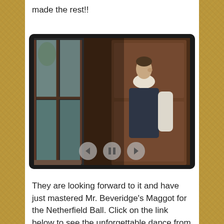made the rest!!
[Figure (photo): A man in period costume (white ruffled shirt and dark waistcoat) standing by a large wooden window, looking out. Regency/Victorian era style. Slideshow controls (back arrow, pause, forward arrow) visible at bottom center of the image frame.]
They are looking forward to it and have just mastered Mr. Beveridge's Maggot for the Netherfield Ball. Click on the link below to see the unforgettable dance from the Pride and Prejudice